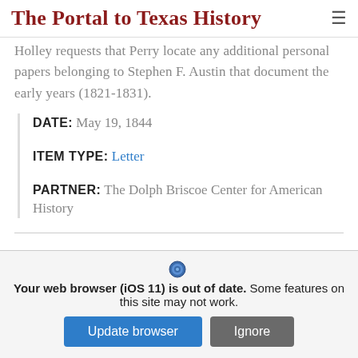The Portal to Texas History
Holley requests that Perry locate any additional personal papers belonging to Stephen F. Austin that document the early years (1821-1831).
DATE: May 19, 1844
ITEM TYPE: Letter
PARTNER: The Dolph Briscoe Center for American History
Your web browser (iOS 11) is out of date. Some features on this site may not work.